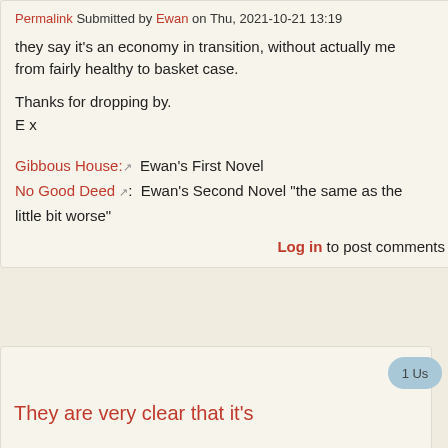Permalink Submitted by Ewan on Thu, 2021-10-21 13:19
they say it's an economy in transition, without actually me from fairly healthy to basket case.
Thanks for dropping by.
E x
Gibbous House: [ext]  Ewan's First Novel
No Good Deed [ext]:  Ewan's Second Novel "the same as the little bit worse"
Log in to post comments
They are very clear that it's